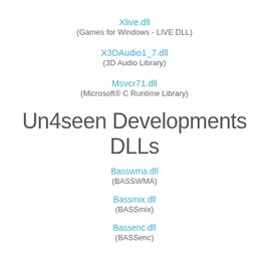Xlive.dll
(Games for Windows - LIVE DLL)
X3DAudio1_7.dll
(3D Audio Library)
Msvcr71.dll
(Microsoft® C Runtime Library)
Un4seen Developments DLLs
Basswma.dll
(BASSWMA)
Bassmix.dll
(BASSmix)
Bassenc.dll
(BASSenc)